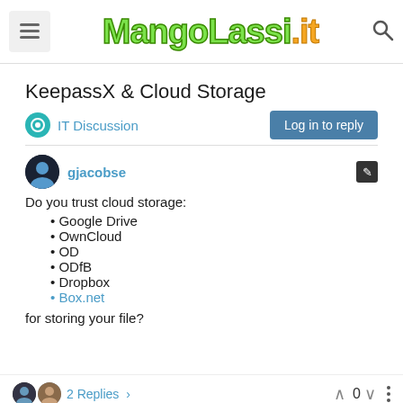MangoLassi.it
KeepassX & Cloud Storage
IT Discussion
Log in to reply
gjacobse
Do you trust cloud storage:
Google Drive
OwnCloud
OD
ODfB
Dropbox
Box.net
for storing your file?
2 Replies  0